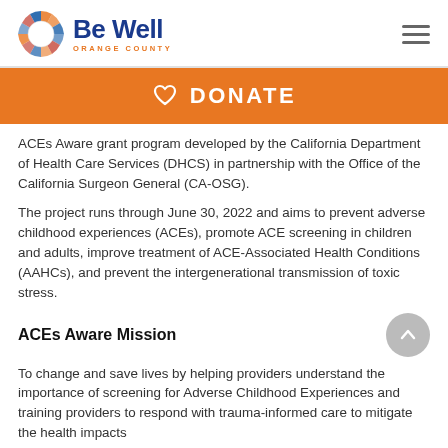[Figure (logo): Be Well Orange County logo with circular mosaic icon and blue text]
♥ DONATE
ACEs Aware grant program developed by the California Department of Health Care Services (DHCS) in partnership with the Office of the California Surgeon General (CA-OSG).
The project runs through June 30, 2022 and aims to prevent adverse childhood experiences (ACEs), promote ACE screening in children and adults, improve treatment of ACE-Associated Health Conditions (AAHCs), and prevent the intergenerational transmission of toxic stress.
ACEs Aware Mission
To change and save lives by helping providers understand the importance of screening for Adverse Childhood Experiences and training providers to respond with trauma-informed care to mitigate the health impacts